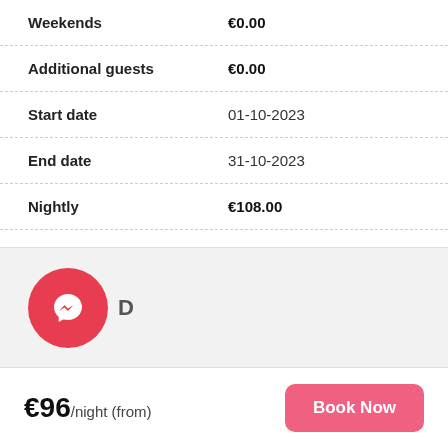| Field | Value |
| --- | --- |
| Weekends | €0.00 |
| Additional guests | €0.00 |
| Start date | 01-10-2023 |
| End date | 31-10-2023 |
| Nightly | €108.00 |
| Weekends | €0.00 |
| Additional guests | €0.00 |
[Figure (logo): Facebook Messenger chat icon, red circle with white lightning bolt messenger logo]
D
€96/night (from)
Book Now